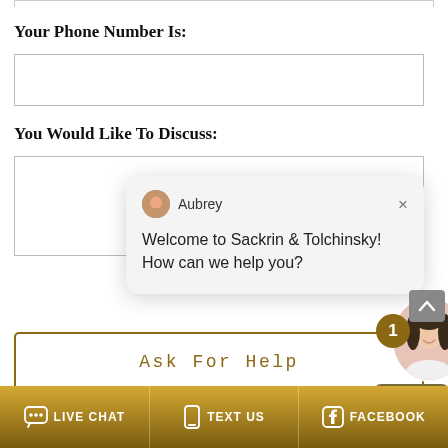Your Phone Number Is:
You Would Like To Discuss:
[Figure (screenshot): Chat popup from Aubrey: 'Welcome to Sackrin & Tolchinsky! How can we help you?' with agent photo and Online Agent badge]
Ask For Help
LIVE CHAT   TEXT US   FACEBOOK